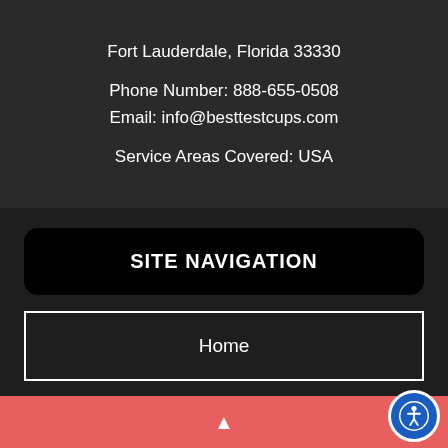Fort Lauderdale, Florida 33330
Phone Number: 888-655-0508
Email: info@besttestcups.com
Service Areas Covered: USA
SITE NAVIGATION
Home
▲